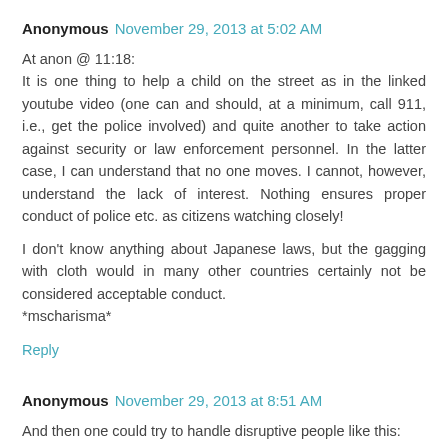Anonymous  November 29, 2013 at 5:02 AM
At anon @ 11:18:
It is one thing to help a child on the street as in the linked youtube video (one can and should, at a minimum, call 911, i.e., get the police involved) and quite another to take action against security or law enforcement personnel. In the latter case, I can understand that no one moves. I cannot, however, understand the lack of interest. Nothing ensures proper conduct of police etc. as citizens watching closely!

I don't know anything about Japanese laws, but the gagging with cloth would in many other countries certainly not be considered acceptable conduct.
*mscharisma*
Reply
Anonymous  November 29, 2013 at 8:51 AM
And then one could try to handle disruptive people like this: